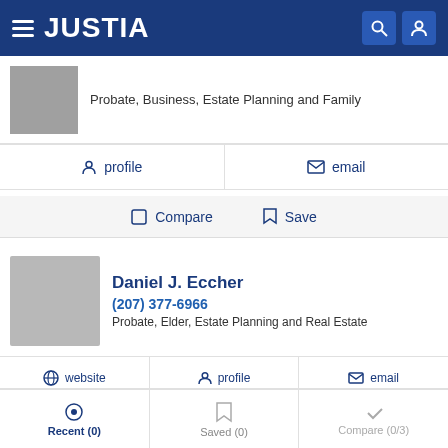JUSTIA
Probate, Business, Estate Planning and Family
profile   email
Compare   Save
Daniel J. Eccher
(207) 377-6966
Probate, Elder, Estate Planning and Real Estate
website   profile   email
Compare   Save
Recent (0)   Saved (0)   Compare (0/3)